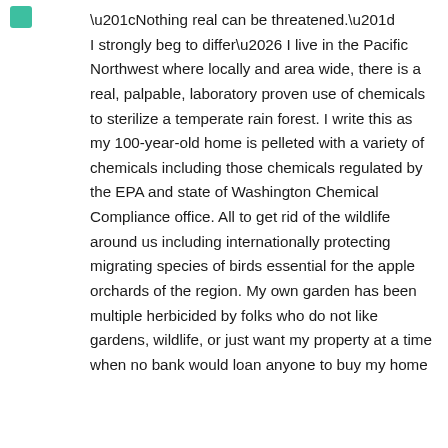[Figure (logo): Small teal/green square icon in the top-left corner]
“Nothing real can be threatened.” I strongly beg to differ… I live in the Pacific Northwest where locally and area wide, there is a real, palpable, laboratory proven use of chemicals to sterilize a temperate rain forest. I write this as my 100-year-old home is pelleted with a variety of chemicals including those chemicals regulated by the EPA and state of Washington Chemical Compliance office. All to get rid of the wildlife around us including internationally protecting migrating species of birds essential for the apple orchards of the region. My own garden has been multiple herbicided by folks who do not like gardens, wildlife, or just want my property at a time when no bank would loan anyone to buy my home